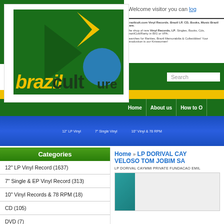[Figure (logo): Brazilian Culture logo with green background, geometric shapes (arrow, diamond, circle in green, yellow, blue), text 'brazil' in yellow italic and 'cult ure' in dark green]
Welcome visitor you can log
Brazilcult.com Vinyl Records. Brazil LP, CD, Books, Music Brazil Rare.
The shop of rare Vinyl Records, LP, Singles, Books, Cds, BrazilCult/Rarity in BIG or VPA.
Searches for Rarities, Brazil Memorabilia & Collectibles! Your Introduction is our Kinswomen!
Search
Home
About us
How to O
12" LP Vinyl
7" Single Vinyl
10" Vinyl & 78 RPM
Categories
12" LP Vinyl Record (1637)
7" Single & EP Vinyl Record (313)
10" Vinyl Records & 78 RPM (18)
CD (105)
DVD (7)
Books (62)
Home » LP DORIVAL CAYMMI VELOSO TOM JOBIM SA
LP DORIVAL CAYMMI PRIVATE FUNDACAO EMIL
[Figure (photo): Product image showing teal/green corner of what appears to be a vinyl record or book cover]